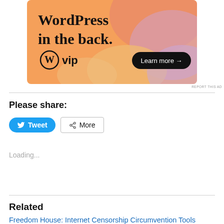[Figure (illustration): WordPress VIP advertisement banner with colorful blob background (orange, pink, purple). Large text reads 'WordPress in the back.' with WordPress W logo and 'vip' text on the left, and a dark pill-shaped 'Learn more →' button on the right.]
REPORT THIS AD
Please share:
Tweet  More
Loading...
Related
Freedom House: Internet Censorship Circumvention Tools